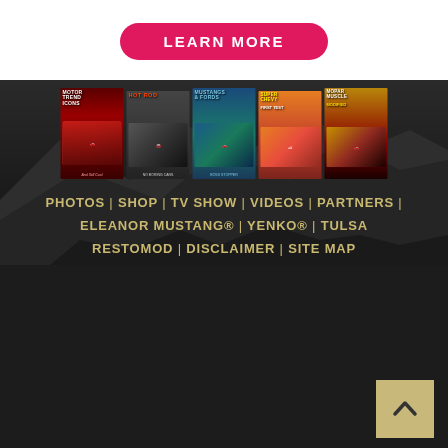[Figure (other): Pink/hot-pink pill-shaped LEARN MORE button on white background]
[Figure (photo): Five automotive magazine covers (Motor Trend Icons, Hot Rod, Mustangs & Fords, Super Chevy, Mopar Muscle) displayed against a dark mountain background]
PHOTOS | SHOP | TV SHOW | VIDEOS | PARTNERS | ELEANOR MUSTANG® | YENKO® | TULSA RESTOMOD | DISCLAIMER | SITE MAP
[Figure (other): Tan/gold back-to-top button with upward chevron arrow in bottom right corner]